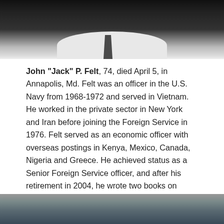[Figure (photo): Portrait photo of John 'Jack' P. Felt, showing upper body in suit and tie, dark background]
John "Jack" P. Felt, 74, died April 5, in Annapolis, Md. Felt was an officer in the U.S. Navy from 1968-1972 and served in Vietnam. He worked in the private sector in New York and Iran before joining the Foreign Service in 1976. Felt served as an economic officer with overseas postings in Kenya, Mexico, Canada, Nigeria and Greece. He achieved status as a Senior Foreign Service officer, and after his retirement in 2004, he wrote two books on genealogy and family history. Felt is survived by two children, Emily and Justin; and three grandchildren.
[Figure (photo): Partial photo at bottom of page, appears to be an outdoor or landscape scene]